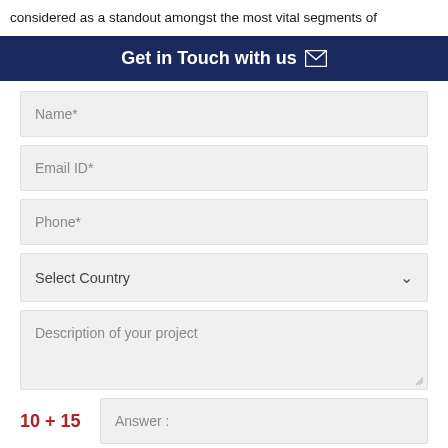considered as a standout amongst the most vital segments of the…
Get in Touch with us ✉
Name*
Email ID*
Phone*
Select Country
Description of your project
10 + 15   Answer :
SUBMIT